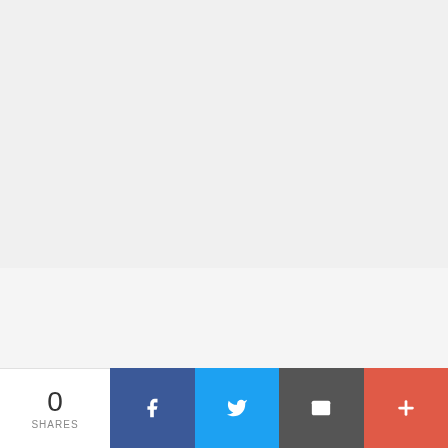[Figure (illustration): Large blank/light gray area representing a content placeholder or advertisement space]
FREE ONLINE PROMOS
[Figure (illustration): Cartoon hand waving with three fingers and a cartoon eyes/face doodle illustration]
0 SHARES
[Figure (infographic): Social share bar with Facebook, Twitter, Email, and More (+) buttons]